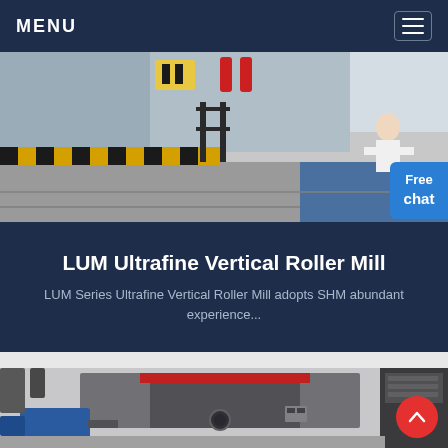MENU
[Figure (photo): Industrial facility interior showing a factory floor with yellow and black striped safety markings, grey epoxy flooring, metal railings, and fire extinguisher equipment mounted on the wall]
LUM Ultrafine Vertical Roller Mill
LUM Series Ultrafine Vertical Roller Mill adopts SHM abundant experience...
[Figure (photo): Industrial machinery photograph showing a large grey metal milling machine with a blue electric motor, red-trimmed housing, circular access ports, and electrical control panels in the background]